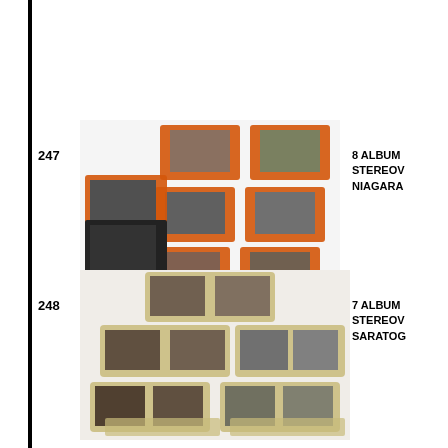247
[Figure (photo): Group of stereoview cards with orange borders depicting Niagara Falls scenes, arranged in a fan/spread layout]
8 ALBUM
STEREOV
NIAGARA
248
[Figure (photo): Group of 7 album stereoview cards with yellow-green borders depicting Saratoga scenes, arranged in a spread layout]
7 ALBUM
STEREOV
SARATOG